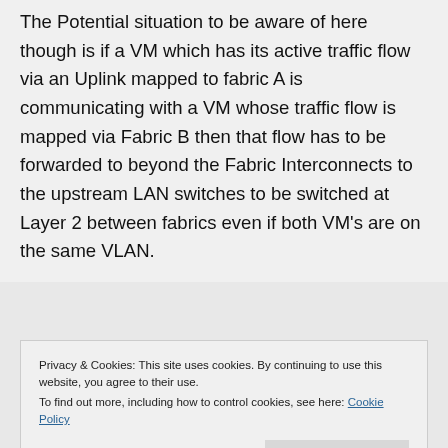The Potential situation to be aware of here though is if a VM which has its active traffic flow via an Uplink mapped to fabric A is communicating with a VM whose traffic flow is mapped via Fabric B then that flow has to be forwarded to beyond the Fabric Interconnects to the upstream LAN switches to be switched at Layer 2 between fabrics even if both VM's are on the same VLAN.
Privacy & Cookies: This site uses cookies. By continuing to use this website, you agree to their use. To find out more, including how to control cookies, see here: Cookie Policy